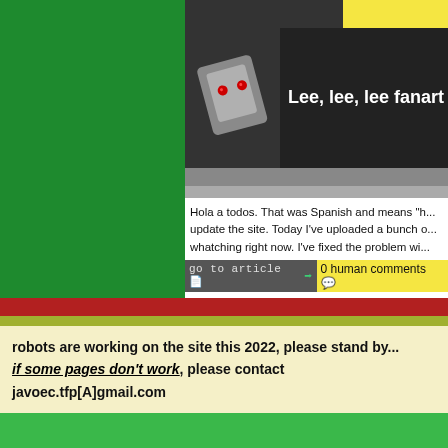[Figure (illustration): Robot character illustration with red eyes on dark background, next to article title 'Lee, lee, lee fanart']
Hola a todos. That was Spanish and means "h... update the site. Today I've uploaded a bunch o... whatching right now. I've fixed the problem wi...
go to article  0 human comments
[Figure (illustration): Robot character illustration with red eyes on dark background, next to article title 'Houston, were goin...']
A new update, and this time it's a fanart updat... Scan Arta Central is retired from the scanart b... going down of the sky that I've uploaded today... going to Mim's page. I'm very busy with a very...
robots are working on the site this 2022, please stand by...
if some pages don't work, please contact javoec.tfp[A]gmail.com